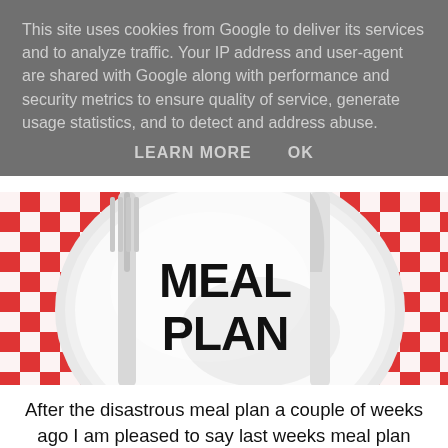This site uses cookies from Google to deliver its services and to analyze traffic. Your IP address and user-agent are shared with Google along with performance and security metrics to ensure quality of service, generate usage statistics, and to detect and address abuse.
LEARN MORE   OK
[Figure (illustration): A meal plan graphic showing a white plate on a red and white checkered tablecloth with cutlery (knife and fork) on either side. The plate has the text 'MEAL PLAN' written on it in a hand-lettered style.]
After the disastrous meal plan a couple of weeks ago I am pleased to say last weeks meal plan went much better. I think the fact we had a fun weekend planned made me stick to the meals during the week.